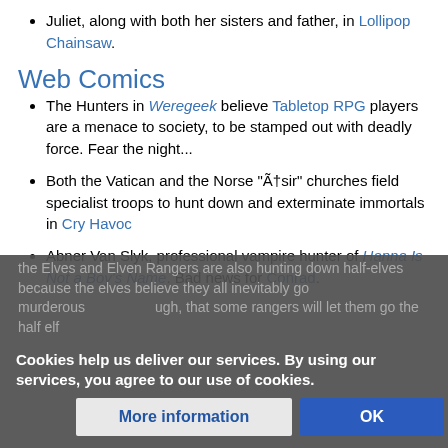Juliet, along with both her sisters and father, in Lollipop Chainsaw.
Web Comics
The Hunters in Weregeek believe Tabletop RPG players are a menace to society, to be stamped out with deadly force. Fear the night...
Both the Vatican and the Norse "Ã†sir" churches field specialist troops to hunt down and exterminate immortals in Cry Havoc
Abner Van Slyk, professional vampire hunter of Hanna Is Not a Boy's Name. Bad news for Conrad.
the Elves and Elven Rangers are also hunting down half-elves because the elves believe they all inevitably go murderous, though, that some rangers will let them go the half elf.
Cookies help us deliver our services. By using our services, you agree to our use of cookies.